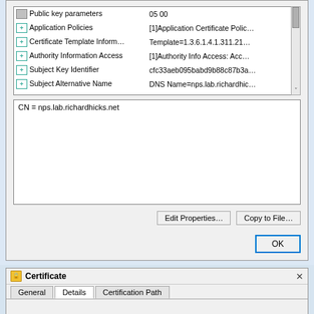[Figure (screenshot): Top portion of a Windows Certificate dialog showing Details tab with a list of certificate fields and values, a text box showing 'CN = nps.lab.richardhicks.net', Edit Properties and Copy to File buttons, and an OK button.]
[Figure (screenshot): Bottom portion showing a new Certificate dialog with General, Details, Certification Path tabs. Details tab active. Show dropdown set to <All>. Field/Value list with Subject Alternative Name row highlighted in blue.]